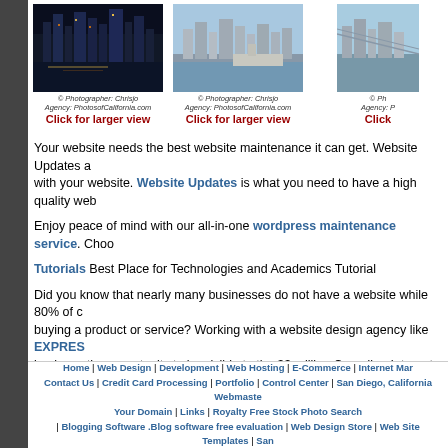[Figure (photo): San Diego night skyline reflection on water - Photo 1]
© Photographer: Chrisjo
Agency: PhotosofCalifornia.com
Click for larger view
[Figure (photo): San Diego daytime skyline from water with cruise ship - Photo 2]
© Photographer: Chrisjo
Agency: PhotosofCalifornia.com
Click for larger view
[Figure (photo): San Diego skyline partial view - Photo 3]
© Ph
Agency: P
Click
Your website needs the best website maintenance it can get. Website Updates are something that is very important with your website. Website Updates is what you need to have a high quality web
Enjoy peace of mind with our all-in-one wordpress maintenance service. Choo
Tutorials Best Place for Technologies and Academics Tutorial
Did you know that nearly many businesses do not have a website while 80% of customers research a product before buying a product or service? Working with a website design agency like EXPRES business the opportunity to be visible to the 33 million Canadian Internet users. T reach your potential customers and increase your turnover.
`View our refurbished and new laptop specials on our dedicated laptop specials
Home | Web Design | Development | Web Hosting | E-Commerce | Internet Mar Contact Us | Credit Card Processing | Portfolio | Control Center | San Diego, California Webmaste Your Domain | Links | Royalty Free Stock Photo Search | Blogging Software .Blog software free evaluation | Web Design Store | Web Site Templates | San